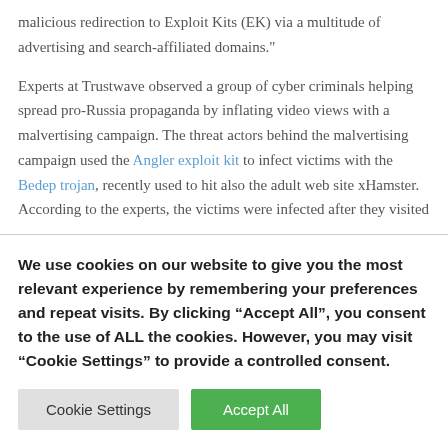malicious redirection to Exploit Kits (EK) via a multitude of advertising and search-affiliated domains."
Experts at Trustwave observed a group of cyber criminals helping spread pro-Russia propaganda by inflating video views with a malvertising campaign. The threat actors behind the malvertising campaign used the Angler exploit kit to infect victims with the Bedep trojan, recently used to hit also the adult web site xHamster. According to the experts, the victims were infected after they visited
We use cookies on our website to give you the most relevant experience by remembering your preferences and repeat visits. By clicking "Accept All", you consent to the use of ALL the cookies. However, you may visit "Cookie Settings" to provide a controlled consent.
Cookie Settings
Accept All